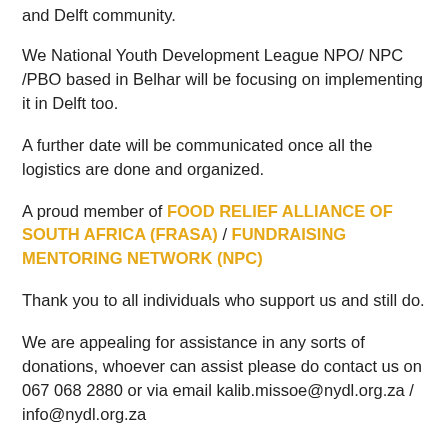and Delft community.
We National Youth Development League NPO/ NPC /PBO based in Belhar will be focusing on implementing it in Delft too.
A further date will be communicated once all the logistics are done and organized.
A proud member of FOOD RELIEF ALLIANCE OF SOUTH AFRICA (FRASA) / FUNDRAISING MENTORING NETWORK (NPC)
Thank you to all individuals who support us and still do.
We are appealing for assistance in any sorts of donations, whoever can assist please do contact us on 067 068 2880 or via email kalib.missoe@nydl.org.za / info@nydl.org.za
Any donations would be much appreciated and highly